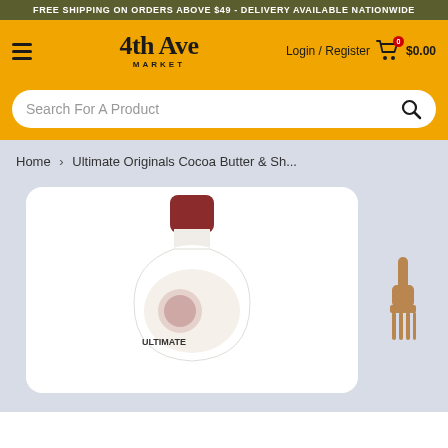FREE SHIPPING ON ORDERS ABOVE $49 - DELIVERY AVAILABLE NATIONWIDE
[Figure (logo): 4th Ave Market logo with navigation elements including hamburger menu, Login/Register link, and shopping cart showing $0.00]
Search For A Product
Home > Ultimate Originals Cocoa Butter & Sh...
[Figure (photo): Product photo of Ultimate Originals Cocoa Butter & Shea lotion bottle with red cap, white body, shown in a white rounded card. A wooden afro pick comb is visible to the right.]